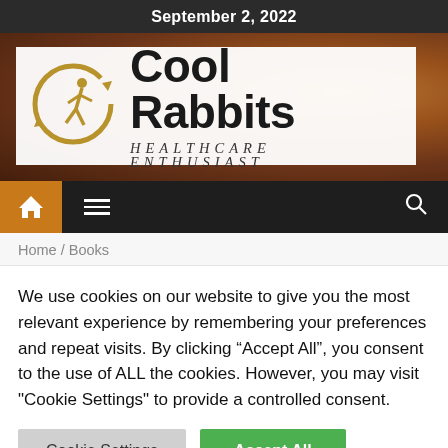September 2, 2022
[Figure (logo): Cool Rabbits Healthcare Enthusiast logo with circular running figure icon and site name on white background over rabbit fur photo banner]
[Figure (screenshot): Navigation bar with orange home icon, hamburger menu and search icon on dark background]
Home / Books
We use cookies on our website to give you the most relevant experience by remembering your preferences and repeat visits. By clicking “Accept All”, you consent to the use of ALL the cookies. However, you may visit "Cookie Settings" to provide a controlled consent.
Cookie Settings | Accept All